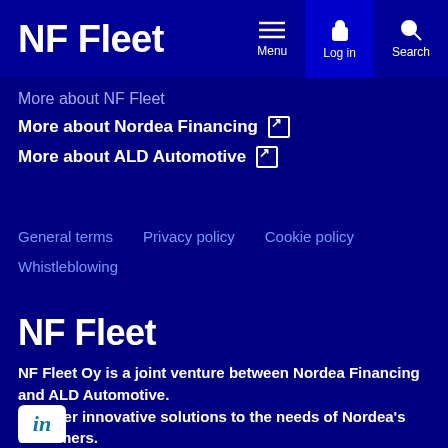NF Fleet
More about NF Fleet
More about Nordea Financing ↗
More about ALD Automotive ↗
General terms
Privacy policy
Cookie policy
Whistleblowing
NF Fleet
NF Fleet Oy is a joint venture between Nordea Financing and ALD Automotive. We offer innovative solutions to the needs of Nordea's customers.
[Figure (logo): LinkedIn icon in white box with teal 'in' text]